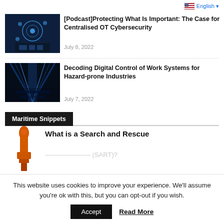English
[Figure (photo): Dark blue tech image with glowing circular icons and hands on keyboard]
[Podcast]Protecting What Is Important: The Case for Centralised OT Cybersecurity
July 8, 2022
[Figure (photo): Dark image of a highway with blue digital light streaks in a tunnel]
Decoding Digital Control of Work Systems for Hazard-prone Industries
July 7, 2022
Maritime Snippets
[Figure (photo): Orange maritime buoy illustration]
What is a Search and Rescue
This website uses cookies to improve your experience. We'll assume you're ok with this, but you can opt-out if you wish.
Accept
Read More